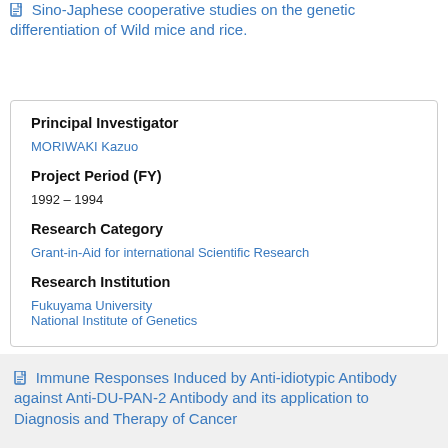Sino-Japhese cooperative studies on the genetic differentiation of Wild mice and rice.
Principal Investigator
MORIWAKI Kazuo
Project Period (FY)
1992 – 1994
Research Category
Grant-in-Aid for international Scientific Research
Research Institution
Fukuyama University
National Institute of Genetics
Immune Responses Induced by Anti-idiotypic Antibody against Anti-DU-PAN-2 Antibody and its application to Diagnosis and Therapy of Cancer